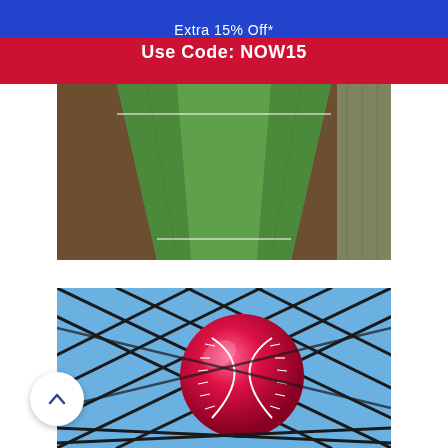Extra 15% Off*
Use Code: NOW15
[Figure (photo): Aerial view of a green cricket pitch/practice net strip with brown dirt gutters on both sides, fenced background]
[Figure (photo): Close-up of a red/pink cricket ball caught in a black netting, blue sky background]